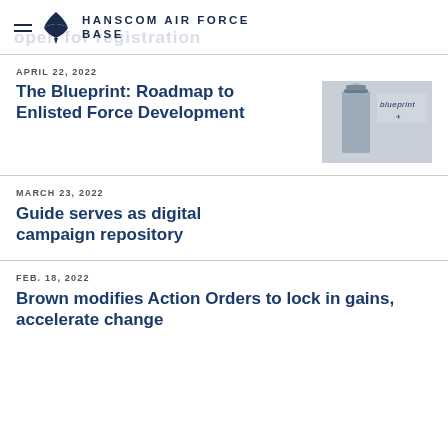HANSCOM AIR FORCE BASE
APRIL 22, 2022
The Blueprint: Roadmap to Enlisted Force Development
[Figure (photo): Cover image of the Blueprint publication showing a uniformed airman and the word 'blueprint' with Air Force logo]
MARCH 23, 2022
Guide serves as digital campaign repository
FEB. 18, 2022
Brown modifies Action Orders to lock in gains, accelerate change